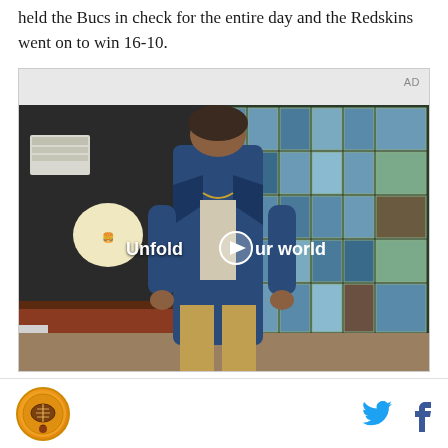held the Bucs in check for the entire day and the Redskins went on to win 16-10.
[Figure (screenshot): Advertisement video screenshot showing a young man in a denim jacket walking in a diner with a blue tile grid wall behind him. Text overlay reads 'Unfold your world' with a play button. AD label in top right.]
[Figure (logo): Circular sports site logo with orange/gold background]
[Figure (illustration): Twitter bird icon (blue) and Facebook 'f' icon (dark blue) social sharing buttons]